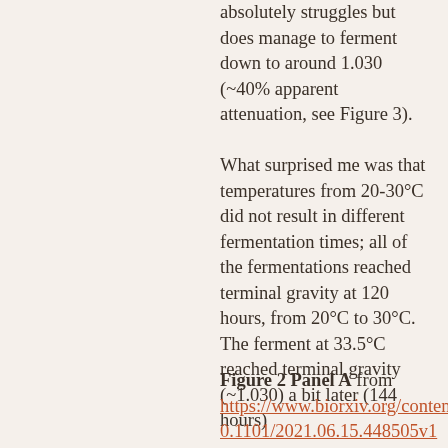absolutely struggles but does manage to ferment down to around 1.030 (~40% apparent attenuation, see Figure 3).
What surprised me was that temperatures from 20-30°C did not result in different fermentation times; all of the fermentations reached terminal gravity at 120 hours, from 20°C to 30°C. The ferment at 33.5°C reached terminal gravity (~1.030) a bit later (144 hours)
Figure 2 Panel A from https://www.biorxiv.org/content/10.1101/2021.06.15.448505v1 Maximum rate of fermentation